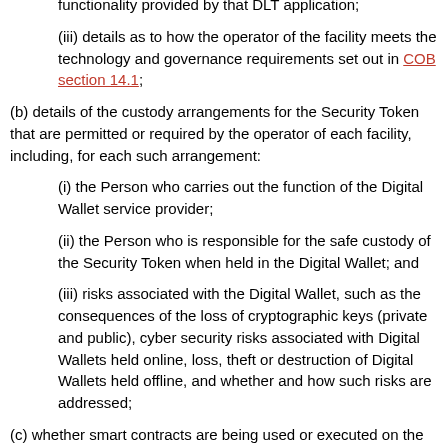(iii) details as to how the operator of the facility meets the technology and governance requirements set out in COB section 14.1;
(b) details of the custody arrangements for the Security Token that are permitted or required by the operator of each facility, including, for each such arrangement:
(i) the Person who carries out the function of the Digital Wallet service provider;
(ii) the Person who is responsible for the safe custody of the Security Token when held in the Digital Wallet; and
(iii) risks associated with the Digital Wallet, such as the consequences of the loss of cryptographic keys (private and public), cyber security risks associated with Digital Wallets held online, loss, theft or destruction of Digital Wallets held offline, and whether and how such risks are addressed;
(c) whether smart contracts are being used or executed on the facility and, if so:
(i) what form those smart contracts take;
(ii) how the legal rights and obligations arising under the